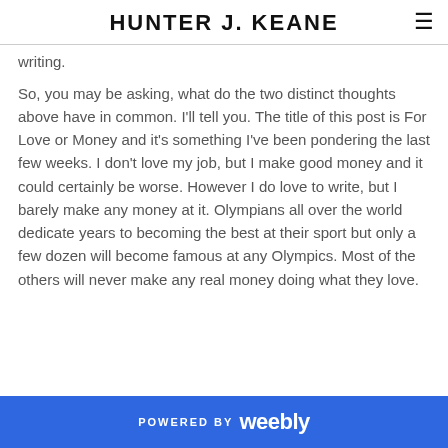HUNTER J. KEANE
writing.
So, you may be asking, what do the two distinct thoughts above have in common. I'll tell you. The title of this post is For Love or Money and it's something I've been pondering the last few weeks. I don't love my job, but I make good money and it could certainly be worse. However I do love to write, but I barely make any money at it. Olympians all over the world dedicate years to becoming the best at their sport but only a few dozen will become famous at any Olympics. Most of the others will never make any real money doing what they love.
POWERED BY weebly